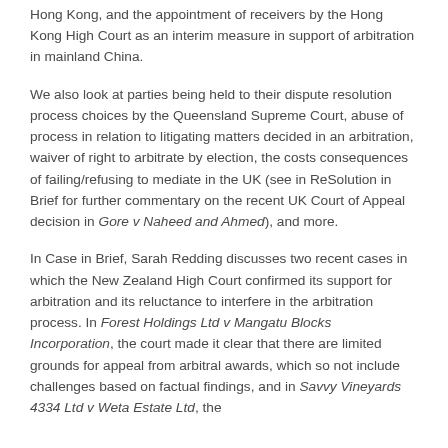Hong Kong, and the appointment of receivers by the Hong Kong High Court as an interim measure in support of arbitration in mainland China.
We also look at parties being held to their dispute resolution process choices by the Queensland Supreme Court, abuse of process in relation to litigating matters decided in an arbitration, waiver of right to arbitrate by election, the costs consequences of failing/refusing to mediate in the UK (see in ReSolution in Brief for further commentary on the recent UK Court of Appeal decision in Gore v Naheed and Ahmed), and more.
In Case in Brief, Sarah Redding discusses two recent cases in which the New Zealand High Court confirmed its support for arbitration and its reluctance to interfere in the arbitration process. In Forest Holdings Ltd v Mangatu Blocks Incorporation, the court made it clear that there are limited grounds for appeal from arbitral awards, which so not include challenges based on factual findings, and in Savvy Vineyards 4334 Ltd v Weta Estate Ltd, the